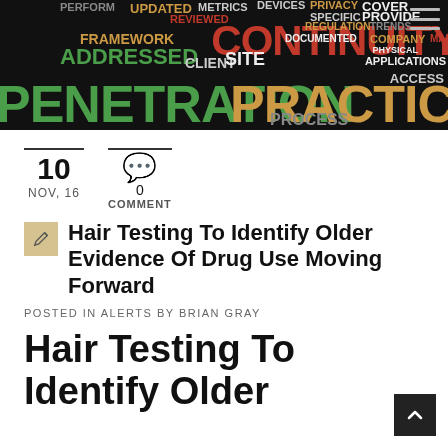[Figure (illustration): Word cloud banner on dark background featuring cybersecurity terms such as PENETRATION, PRACTICES, CONTINUITY, ADDRESSED, SITE, FRAMEWORK, TESTED, UPDATED, METRICS, DEVICES, PRIVACY, COVER, PROVIDE, MALWARE, PHYSICAL, APPLICATIONS, ACCESS, PROCESS, CLIENT, DOCUMENTED, REGULATION, SPECIFIC, COMPANY, TRENDS in various colors (green, red/orange, yellow, white) on black background. A hamburger menu icon appears in the top right.]
10
NOV, 16
0
COMMENT
Hair Testing To Identify Older Evidence Of Drug Use Moving Forward
POSTED IN ALERTS BY BRIAN GRAY
Hair Testing To Identify Older